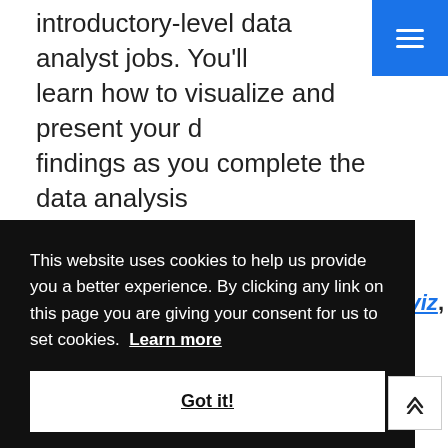equip you with the skills needed to apply introductory-level data analyst jobs. You'll learn how to visualize and present your data findings as you complete the data analysis process. This course will show you [...]
[Figure (logo): Brain/Coursera icon - dark blue brain icon]
Google Data Analytics Professional
This website uses cookies to help us provide you a better experience. By clicking any link on this page you are giving your consent for us to set cookies. Learn more
Got it!
View more details